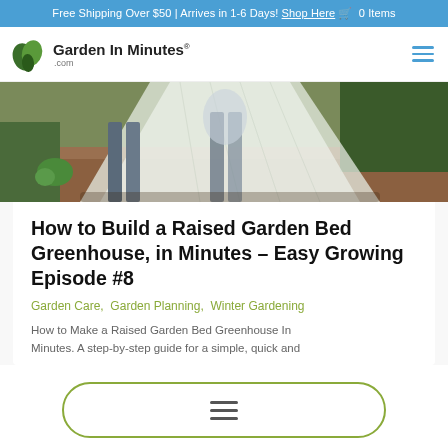Free Shipping Over $50 | Arrives in 1-6 Days! Shop Here 🛒  0 Items
[Figure (logo): Garden In Minutes .com logo with green leaf icon]
[Figure (photo): People covering a raised garden bed with white mesh/fabric greenhouse netting in a garden setting]
How to Build a Raised Garden Bed Greenhouse, in Minutes – Easy Growing Episode #8
Garden Care,  Garden Planning,  Winter Gardening
How to Make a Raised Garden Bed Greenhouse In Minutes. A step-by-step guide for a simple, quick and